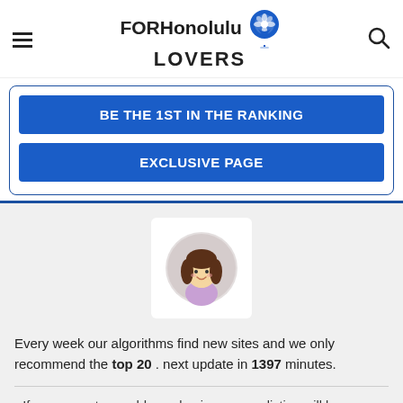FOR Honolulu LOVERS
BE THE 1ST IN THE RANKING
EXCLUSIVE PAGE
[Figure (illustration): Cartoon avatar of a woman with brown hair, smiling, wearing a purple top, inside a circular frame on a white card background.]
Every week our algorithms find new sites and we only recommend the top 20 . next update in 1397 minutes.
⬛ If you promote or add your business, your listing will be permanent on this list.